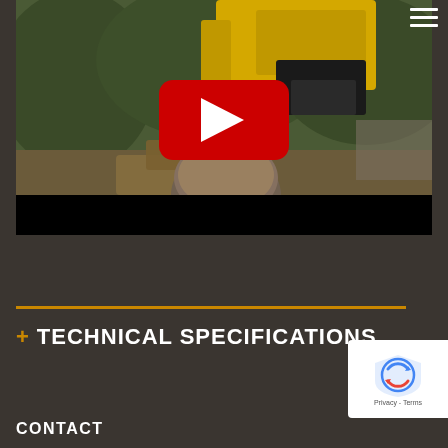[Figure (screenshot): YouTube video thumbnail showing a yellow forestry machine/harvester head processing logs near a tree stump in a wooded outdoor area. A YouTube play button (red rectangle with white triangle) is overlaid in the center. Below the thumbnail is a black control bar.]
+ TECHNICAL SPECIFICATIONS
[Figure (logo): Google reCAPTCHA badge with reCAPTCHA shield logo, Privacy and Terms links, and an up-arrow icon.]
CONTACT